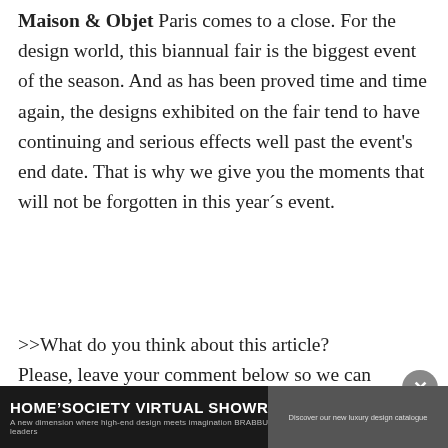Maison & Objet Paris comes to a close. For the design world, this biannual fair is the biggest event of the season. And as has been proved time and time again, the designs exhibited on the fair tend to have continuing and serious effects well past the event's end date. That is why we give you the moments that will not be forgotten in this year´s event.
>>What do you think about this article? Please, leave your comment below so we can help you with your favorite themes. If you want to be up to date with the best news
[Figure (other): Close button (X) circle in grey]
[Figure (other): HOME'SOCIETY VIRTUAL SHOWROOM advertisement banner. Dark background with white bold text. Subtitle: A new dimension where high-end design meets imagination BRABBU, RUGSOCIETY & MAISON VALENTINA as leaders. Right side shows a partial interior photo.]